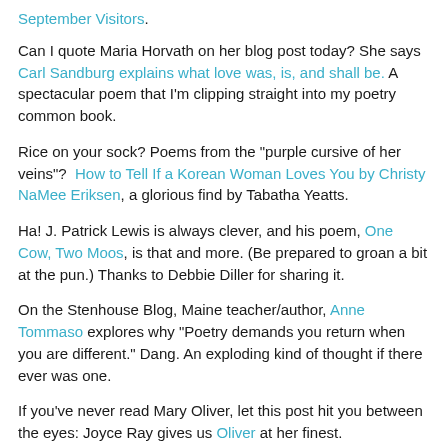September Visitors.
Can I quote Maria Horvath on her blog post today? She says Carl Sandburg explains what love was, is, and shall be. A spectacular poem that I'm clipping straight into my poetry common book.
Rice on your sock? Poems from the "purple cursive of her veins"?  How to Tell If a Korean Woman Loves You by Christy NaMee Eriksen, a glorious find by Tabatha Yeatts.
Ha! J. Patrick Lewis is always clever, and his poem, One Cow, Two Moos, is that and more. (Be prepared to groan a bit at the pun.) Thanks to Debbie Diller for sharing it.
On the Stenhouse Blog, Maine teacher/author, Anne Tommaso explores why "Poetry demands you return when you are different." Dang. An exploding kind of thought if there ever was one.
If you've never read Mary Oliver, let this post hit you between the eyes: Joyce Ray gives us Oliver at her finest.